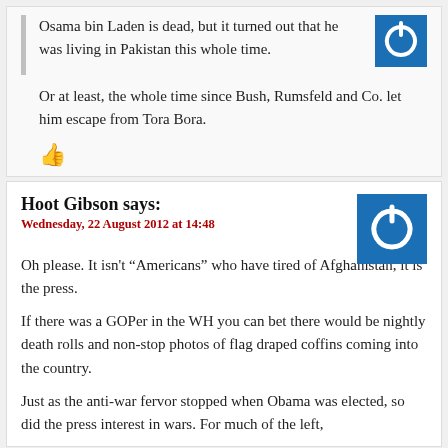Osama bin Laden is dead, but it turned out that he was living in Pakistan this whole time.
Or at least, the whole time since Bush, Rumsfeld and Co. let him escape from Tora Bora.
[Figure (logo): Blue square with white power button icon (partial, top cropped)]
👍 (thumbs up icon)
Hoot Gibson says:
Wednesday, 22 August 2012 at 14:48
[Figure (logo): Blue square with white power button icon]
Oh please. It isn't “Americans” who have tired of Afghanistan, it is the press.
If there was a GOPer in the WH you can bet there would be nightly death rolls and non-stop photos of flag draped coffins coming into the country.
Just as the anti-war fervor stopped when Obama was elected, so did the press interest in wars. For much of the left,